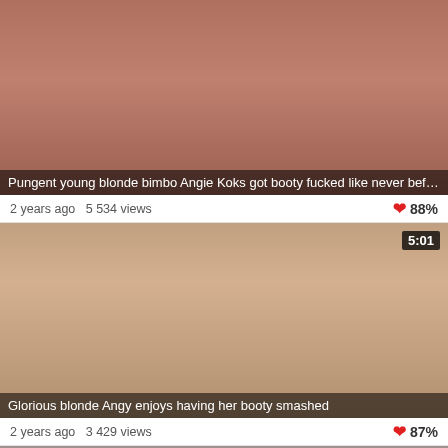[Figure (screenshot): Video thumbnail for adult content video 1]
Pungent young blonde bimbo Angie Koks got booty fucked like never before
2 years ago  5 534 views  ♥ 88%
[Figure (screenshot): Video thumbnail for adult content video 2, duration 5:01]
Glorious blonde Angy enjoys having her booty smashed
2 years ago  3 429 views  ♥ 87%
[Figure (screenshot): Video thumbnail for adult content video 3, duration 6:00]